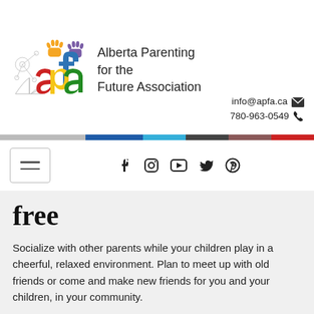[Figure (logo): APFA logo with colorful handprints and letters a, p, f, a in red, yellow, blue, green alongside 'Alberta Parenting for the Future Association' text]
info@apfa.ca
780-963-0549
[Figure (infographic): Horizontal color bar with segments: dark blue, light blue, dark gray, brown/mauve, red]
[Figure (infographic): Navigation bar with hamburger menu icon on left and social media icons (Facebook, Instagram, YouTube, Twitter, Pinterest) in center]
free
Socialize with other parents while your children play in a cheerful, relaxed environment. Plan to meet up with old friends or come and make new friends for you and your children, in your community.